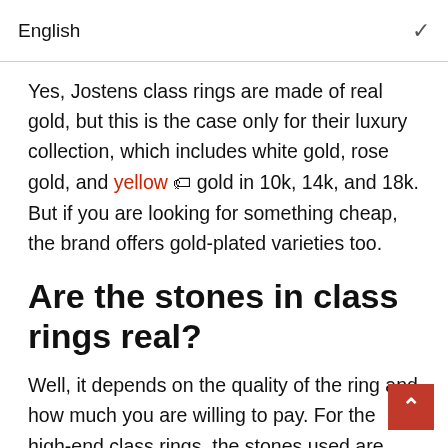English
Yes, Jostens class rings are made of real gold, but this is the case only for their luxury collection, which includes white gold, rose gold, and yellow 🏷 gold in 10k, 14k, and 18k. But if you are looking for something cheap, the brand offers gold-plated varieties too.
Are the stones in class rings real?
Well, it depends on the quality of the ring and how much you are willing to pay. For the high-end class rings, the stones used are genuine gemstones, but for a smaller budget, you will 🏷